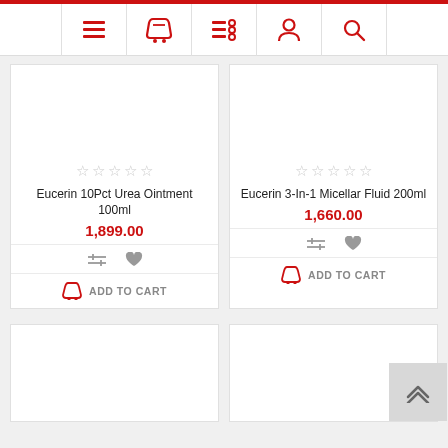[Figure (screenshot): Top navigation bar with hamburger menu, shopping cart, filter/list, user account, and search icons in red on white background with red top border]
[Figure (screenshot): Product card: Eucerin 10Pct Urea Ointment 100ml, price 1,899.00, empty star rating, compare and wishlist icons, add to cart button]
[Figure (screenshot): Product card: Eucerin 3-In-1 Micellar Fluid 200ml, price 1,660.00, empty star rating, compare and wishlist icons, add to cart button]
[Figure (screenshot): Two partial product cards at bottom of page, mostly blank image areas visible]